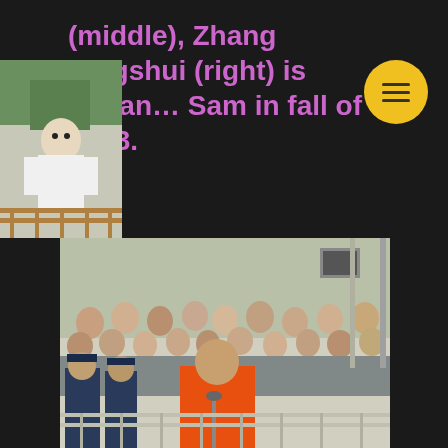(middle), Zhang Xingshui (right) is Logan... Sam in fall of 2003.
[Figure (photo): Small thumbnail portrait photo of a person in white clothing standing outdoors on a balcony or railing.]
[Figure (other): Yellow circular menu button with three horizontal lines (hamburger icon).]
[Figure (photo): Courtroom scene photo showing a man in an orange vest/jacket speaking at a podium or railing, with police officers and a crowd of spectators in the background.]